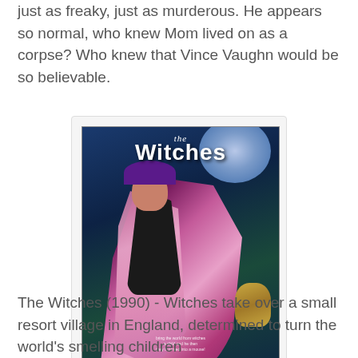just as freaky, just as murderous. He appears so normal, who knew Mom lived on as a corpse? Who knew that Vince Vaughn would be so believable.
[Figure (photo): DVD cover/movie poster for 'The Witches' (1990), showing an illustrated witch in a large purple and pink flowing cloak, with a small creature in the lower right corner, against a dark fantasy background. White text reads 'the Witches' at the top.]
The Witches (1990) - Witches take over a small resort village in England, determined to turn the world's smelling children